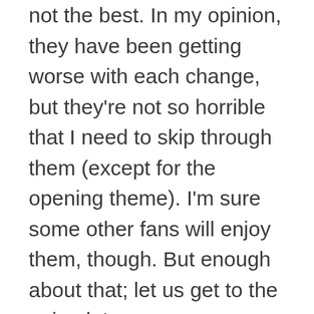not the best. In my opinion, they have been getting worse with each change, but they're not so horrible that I need to skip through them (except for the opening theme). I'm sure some other fans will enjoy them, though. But enough about that; let us get to the episode!

Oh, God...the dolls – the dolls! Remind you of Silent Hill, much? Let me first start with a disclaimer about this episode. It skips around quite a bit in the first half, much more than the first 50 episodes, which can be difficult to keep up with and also to write a not so confusing review. I hope that this is easy to keep up with. We pick up in the laboratory where said general has unleashed the